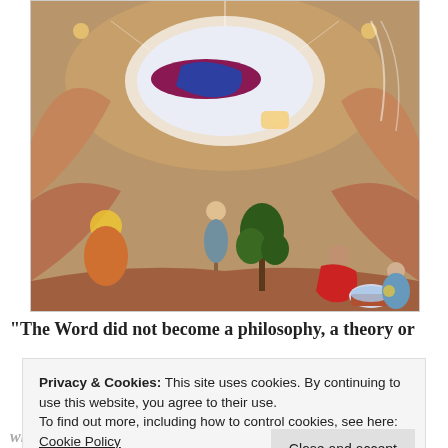[Figure (illustration): Orthodox Christian icon painting depicting the Nativity scene with figures in Byzantine style: a central mandorla with the Virgin Mary and Christ Child, shepherds, wise men, angels, and a midwife filling a basin, set against stylized rocky landscape in warm earth tones.]
“The Word did not become a philosophy, a theory or
Privacy & Cookies: This site uses cookies. By continuing to use this website, you agree to their use.
To find out more, including how to control cookies, see here: Cookie Policy
who has loved the eternal Son